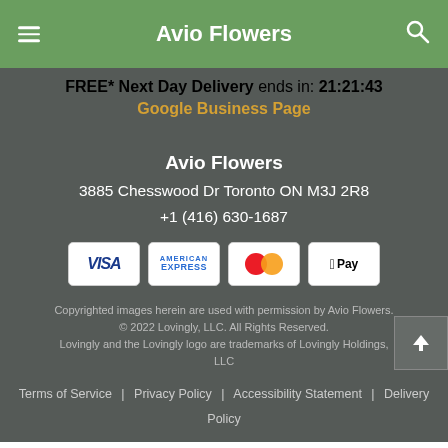Avio Flowers
FREE* Next Day Delivery ends in: 21:21:43
Google Business Page
Avio Flowers
3885 Chesswood Dr Toronto ON M3J 2R8
+1 (416) 630-1687
[Figure (other): Payment method icons: Visa, American Express, Mastercard, Apple Pay]
Copyrighted images herein are used with permission by Avio Flowers. © 2022 Lovingly, LLC. All Rights Reserved. Lovingly and the Lovingly logo are trademarks of Lovingly Holdings, LLC
Terms of Service | Privacy Policy | Accessibility Statement | Delivery Policy